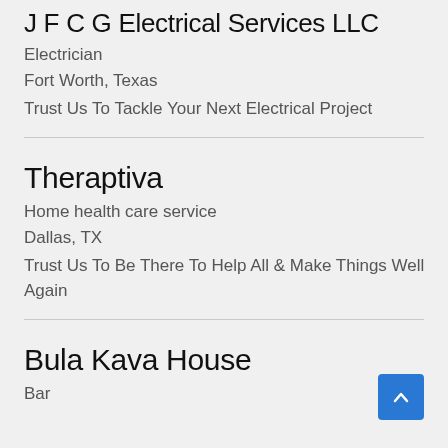J F C G Electrical Services LLC
Electrician
Fort Worth, Texas
Trust Us To Tackle Your Next Electrical Project
Theraptiva
Home health care service
Dallas, TX
Trust Us To Be There To Help All & Make Things Well Again
Bula Kava House
Bar